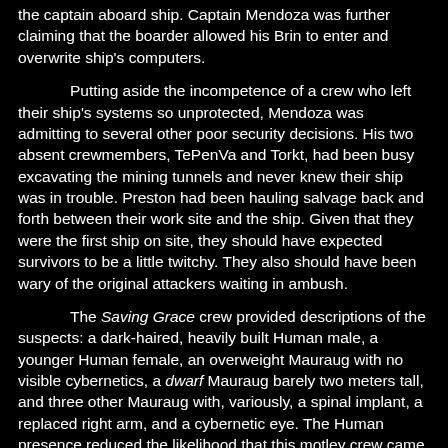the captain aboard ship. Captain Mendoza was further claiming that the boarder allowed his Brin to enter and overwrite ship's computers.
Putting aside the incompetence of a crew who left their ship's systems so unprotected, Mendoza was admitting to several other poor security decisions. His two absent crewmembers, TePenVa and Torkt, had been busy excavating the mining tunnels and never knew their ship was in trouble. Preston had been hauling salvage back and forth between their work site and the ship. Given that they were the first ship on site, they should have expected survivors to be a little twitchy. They also should have been wary of the original attackers waiting in ambush.
The Saving Grace crew provided descriptions of the suspects: a dark-haired, heavily built Human male, a younger Human female, an overweight Mauraug with no visible cybernetics, a dwarf Mauraug barely two meters tall, and three other Mauraug with, variously, a spinal implant, a replaced right arm, and a cybernetic eye. The Human presence reduced the likelihood that this motley crew came